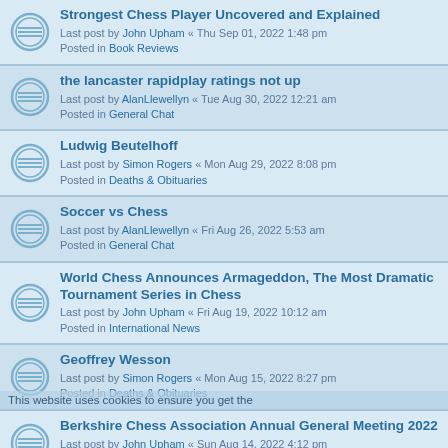Strongest Chess Player Uncovered and Explained
Last post by John Upham « Thu Sep 01, 2022 1:48 pm
Posted in Book Reviews
the lancaster rapidplay ratings not up
Last post by AlanLlewellyn « Tue Aug 30, 2022 12:21 am
Posted in General Chat
Ludwig Beutelhoff
Last post by Simon Rogers « Mon Aug 29, 2022 8:08 pm
Posted in Deaths & Obituaries
Soccer vs Chess
Last post by AlanLlewellyn « Fri Aug 26, 2022 5:53 am
Posted in General Chat
World Chess Announces Armageddon, The Most Dramatic Tournament Series in Chess
Last post by John Upham « Fri Aug 19, 2022 10:12 am
Posted in International News
Geoffrey Wesson
Last post by Simon Rogers « Mon Aug 15, 2022 8:27 pm
Posted in Deaths & Obituaries
Berkshire Chess Association Annual General Meeting 2022
Last post by John Upham « Sun Aug 14, 2022 4:12 pm
Posted in General Chat
Chris Harrington
Last post by Simon Rogers « Sun Aug 14, 2022 11:08 am
Posted in Deaths & Obituaries
ECC200 - She Plays to Win Weekend (September 3rd/4th)